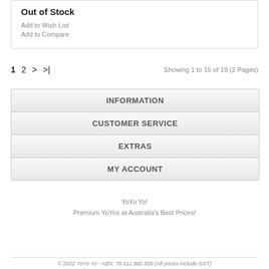Out of Stock
Add to Wish List
Add to Compare
1  2  >  >|     Showing 1 to 15 of 19 (2 Pages)
INFORMATION
CUSTOMER SERVICE
EXTRAS
MY ACCOUNT
YoYo Yo!
Premium YoYos at Australia's Best Prices!
© 2022 YoYo Yo - ABN: 78 011 882 826 (All prices include GST)